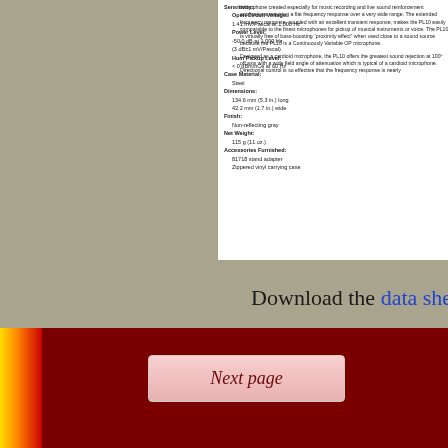Sensitivity:
Open Circuit Voltage:
1.41 mV/Pascal at 1,000 Hz
Power Level:
-50.0 dB at 1,000 Hz
(3 dB±1 mV/Pascal)
Hum Pickup Level:
< 0 dBm/nCe at 60 Hz
Case Material:
Steel
Dimensions:
134.6 mm (5.3 in.) long
42.2 mm (1.7 in.) wide
Finish:
Non-reflecting gray
Net Weight:
115 g (11 oz.)
Accessories Furnished:
81718 stand adapter
Zippered vinyl carrying case
microphone created especially for music recording and live sound reinforcement applications requiring a flat frequency response over a very wide range. The extended frequency response, coupled with an excellent transient response, makes the PL10 easily comparable to the finest microphones for pickup of musical instruments or voice. The PL10 is virtually free of bass-boosting "proximity effect" when used close to a sound source because the PL10 is a Continuously Variable OP microphone.

Designed as a cardioid microphone, the PL10 offers the greatest sound rejection at 100° off axis with a wide field angle of attenuation which is typical of a cardioid microphone. Directional control is so effective that the frequency response is nearly
Download the data sheet
Next page